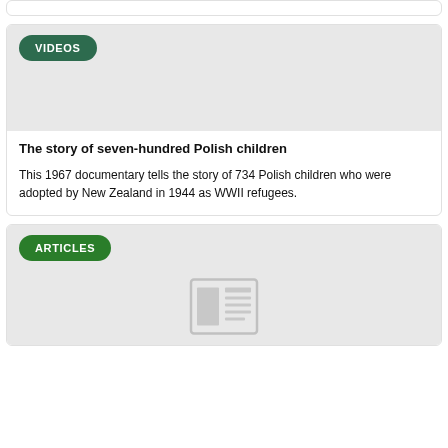[Figure (screenshot): Partial top card cropped at top of page]
[Figure (screenshot): Video thumbnail area with green VIDEOS badge on grey background]
The story of seven-hundred Polish children
This 1967 documentary tells the story of 734 Polish children who were adopted by New Zealand in 1944 as WWII refugees.
[Figure (screenshot): Articles thumbnail area with green ARTICLES badge and newspaper icon on grey background]